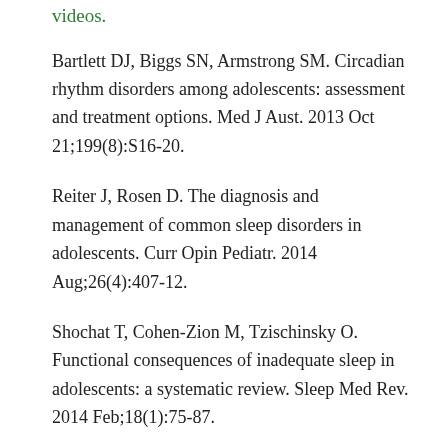Videos.
Bartlett DJ, Biggs SN, Armstrong SM. Circadian rhythm disorders among adolescents: assessment and treatment options. Med J Aust. 2013 Oct 21;199(8):S16-20.
Reiter J, Rosen D. The diagnosis and management of common sleep disorders in adolescents. Curr Opin Pediatr. 2014 Aug;26(4):407-12.
Shochat T, Cohen-Zion M, Tzischinsky O. Functional consequences of inadequate sleep in adolescents: a systematic review. Sleep Med Rev. 2014 Feb;18(1):75-87.
Author